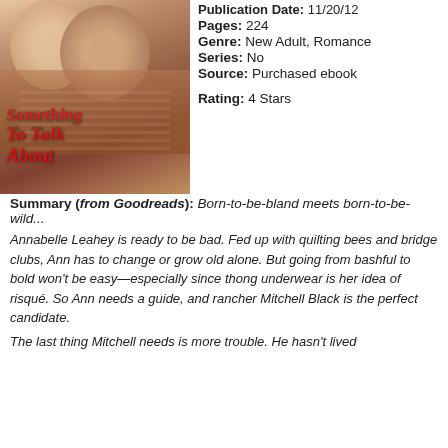[Figure (illustration): Book cover for 'Something To Talk About' showing a romantic couple close together, with red italic title text on a warm-toned background]
Pages: 224
Genre: New Adult, Romance
Series: No
Source: Purchased ebook
Rating: 4 Stars
Summary (from Goodreads): Born-to-be-bland meets born-to-be-wild...
Annabelle Leahey is ready to be bad. Fed up with quilting bees and bridge clubs, Ann has to change or grow old alone. But going from bashful to bold won't be easy—especially since thong underwear is her idea of risqué. So Ann needs a guide, and rancher Mitchell Black is the perfect candidate.
The last thing Mitchell needs is more trouble. He hasn't lived